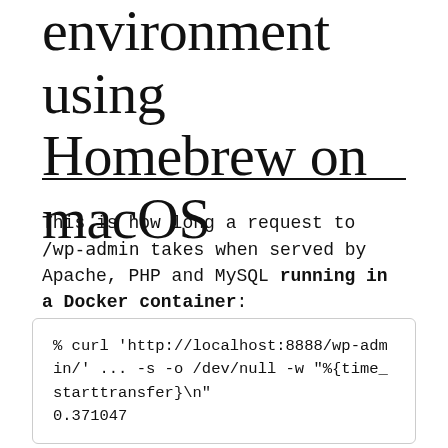environment using Homebrew on macOS
This is how long a request to /wp-admin takes when served by Apache, PHP and MySQL running in a Docker container:
% curl 'http://localhost:8888/wp-admin/' ... -s -o /dev/null -w "%{time_starttransfer}\n"
0.371047